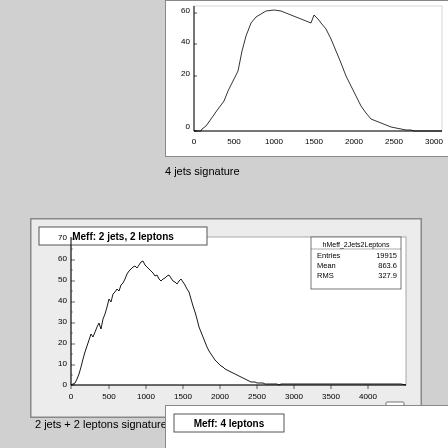[Figure (histogram): Partial histogram visible at top of page, x-axis 0-3200+, y-axis 0-60+]
4 jets signature
[Figure (histogram): Meff: 2 jets, 2 leptons]
2 jets + 2 leptons signature
[Figure (histogram): Partial histogram visible at bottom of page]